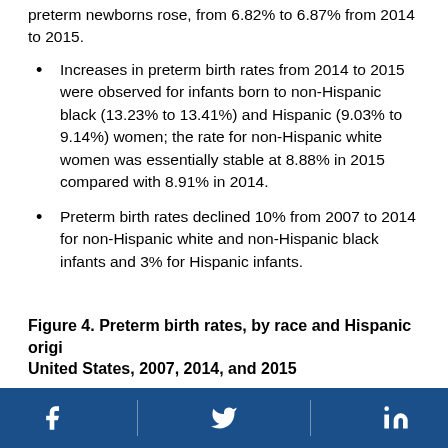preterm newborns rose, from 6.82% to 6.87% from 2014 to 2015.
Increases in preterm birth rates from 2014 to 2015 were observed for infants born to non-Hispanic black (13.23% to 13.41%) and Hispanic (9.03% to 9.14%) women; the rate for non-Hispanic white women was essentially stable at 8.88% in 2015 compared with 8.91% in 2014.
Preterm birth rates declined 10% from 2007 to 2014 for non-Hispanic white and non-Hispanic black infants and 3% for Hispanic infants.
Figure 4. Preterm birth rates, by race and Hispanic origin: United States, 2007, 2014, and 2015